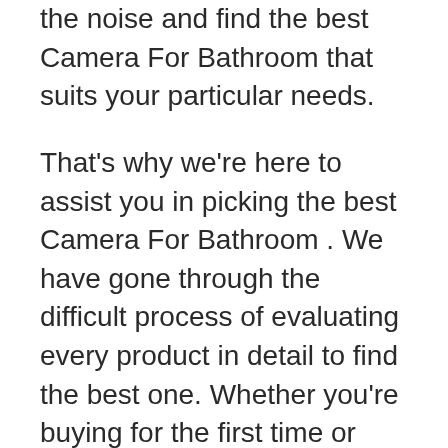the noise and find the best Camera For Bathroom that suits your particular needs.
That's why we're here to assist you in picking the best Camera For Bathroom . We have gone through the difficult process of evaluating every product in detail to find the best one. Whether you're buying for the first time or looking for an upgrade. Brace yourself for everything you need to know about buying the best product available.
So Without further ado, let's jump